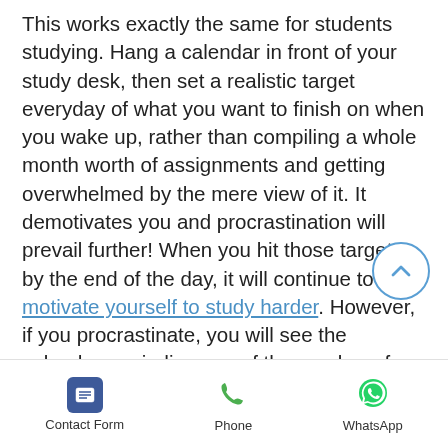This works exactly the same for students studying. Hang a calendar in front of your study desk, then set a realistic target everyday of what you want to finish on when you wake up, rather than compiling a whole month worth of assignments and getting overwhelmed by the mere view of it. It demotivates you and procrastination will prevail further! When you hit those targets by the end of the day, it will continue to motivate yourself to study harder. However, if you procrastinate, you will see the calendar reminding you of the number of days decreasing gradually
[Figure (other): Scroll-to-top circular button with upward chevron arrow, blue outline]
Contact Form | Phone | WhatsApp